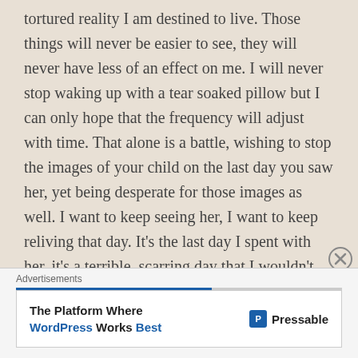tortured reality I am destined to live. Those things will never be easier to see, they will never have less of an effect on me. I will never stop waking up with a tear soaked pillow but I can only hope that the frequency will adjust with time. That alone is a battle, wishing to stop the images of your child on the last day you saw her, yet being desperate for those images as well. I want to keep seeing her, I want to keep reliving that day. It’s the last day I spent with her. it’s a terrible, scarring day that I wouldn’t give up for anything. It was my right at her mother to be able to see her out of this world. It was the last day she needed me and it will remain with me for
[Figure (other): Close button (circled X) for advertisement]
Advertisements
[Figure (other): Pressable advertisement banner: 'The Platform Where WordPress Works Best' with Pressable logo]